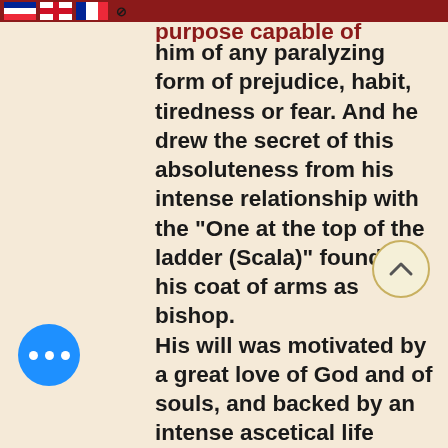[Figure (screenshot): Top navigation bar with flag icons and dark red background, partially cut off at top of page]
purpose capable of delivering him of any paralyzing form of prejudice, habit, tiredness or fear. And he drew the secret of this absoluteness from his intense relationship with the "One at the top of the ladder (Scala)" found on his coat of arms as bishop. His will was motivated by a great love of God and of souls, and backed by an intense ascetical life which did not disdain voluntary penances and prayers to which he was unfailingly faithful, to the point of binding himself to a half hour of meditation or pain of serious sin. His "devotion" ascended to